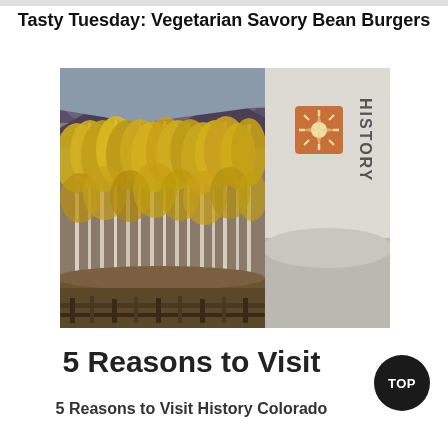Tasty Tuesday: Vegetarian Savory Bean Burgers
[Figure (photo): Composite image: left half shows autumn aspen trees with yellow/golden foliage on a mountain slope, right half shows a History Colorado brochure/book cover with the text HISTORY Colorado written vertically and a sun/star logo icon]
5 Reasons to Visit
5 Reasons to Visit History Colorado